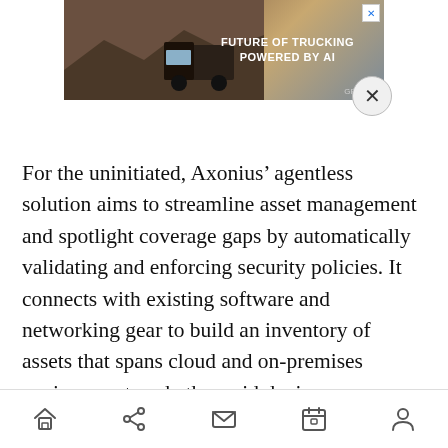[Figure (screenshot): Advertisement banner for trucking company with text 'FUTURE OF TRUCKING POWERED BY AI' and GPlusAI branding, with close button]
For the uninitiated, Axonius’ agentless solution aims to streamline asset management and spotlight coverage gaps by automatically validating and enforcing security policies. It connects with existing software and networking gear to build an inventory of assets that spans cloud and on-premises environments, whether said devices are managed or unmanaged. Furthermore, it supports one-off and ongoing queries that help to illustrate how assets relate to security policies, and it features trigger
[Figure (screenshot): Mobile navigation bar with home, share, mail, calendar, and person icons]